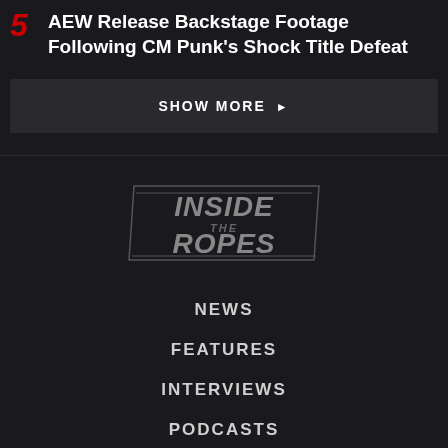5 AEW Release Backstage Footage Following CM Punk's Shock Title Defeat
SHOW MORE ▶
[Figure (logo): Inside The Ropes logo — stylized italic text in gray/silver on dark background]
NEWS
FEATURES
INTERVIEWS
PODCASTS
MAGAZINE
WRITE FOR US